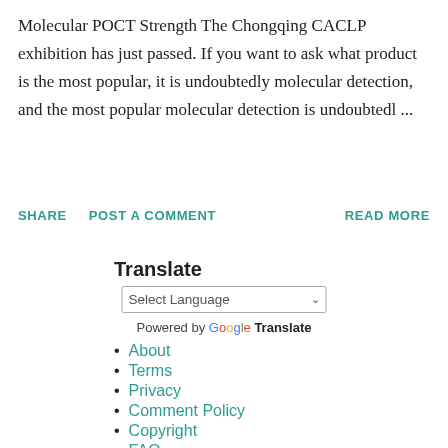Molecular POCT Strength The Chongqing CACLP exhibition has just passed. If you want to ask what product is the most popular, it is undoubtedly molecular detection, and the most popular molecular detection is undoubtedl ...
SHARE   POST A COMMENT   READ MORE
Translate
Select Language
Powered by Google Translate
About
Terms
Privacy
Comment Policy
Copyright
FAQ
Contact
Guest Post